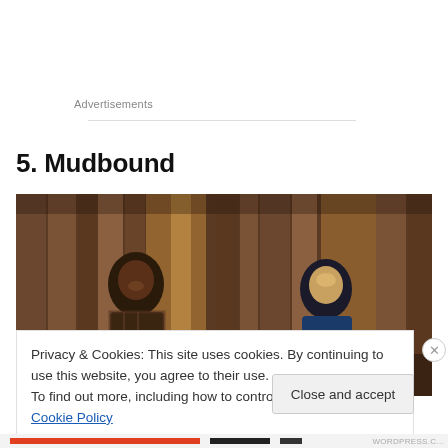Advertisements
5. Mudbound
[Figure (photo): Two men standing in a rustic wooden barn structure — one on the left in a plaid shirt, one on the right in a blue shirt, both looking upward in dramatic lighting.]
Privacy & Cookies: This site uses cookies. By continuing to use this website, you agree to their use.
To find out more, including how to control cookies, see here: Cookie Policy
Close and accept
WORDPRESS.C...